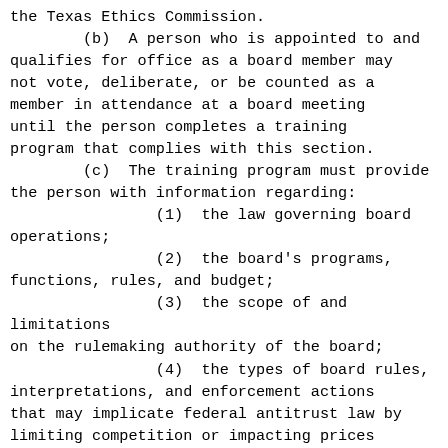the Texas Ethics Commission.
        (b)  A person who is appointed to and qualifies for office as a board member may not vote, deliberate, or be counted as a member in attendance at a board meeting until the person completes a training program that complies with this section.
        (c)  The training program must provide the person with information regarding:
                (1)  the law governing board operations;
                (2)  the board's programs, functions, rules, and budget;
                (3)  the scope of and limitations on the rulemaking authority of the board;
                (4)  the types of board rules, interpretations, and enforcement actions that may implicate federal antitrust law by limiting competition or impacting prices